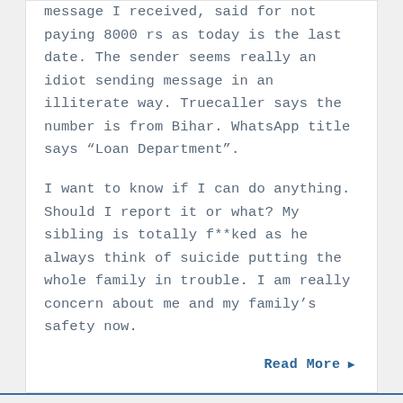message I received, said for not paying 8000 rs as today is the last date. The sender seems really an idiot sending message in an illiterate way. Truecaller says the number is from Bihar. WhatsApp title says “Loan Department”.
I want to know if I can do anything. Should I report it or what? My sibling is totally f**ked as he always think of suicide putting the whole family in trouble. I am really concern about me and my family’s safety now.
Read More ▶
1  2  ...  6  Next »